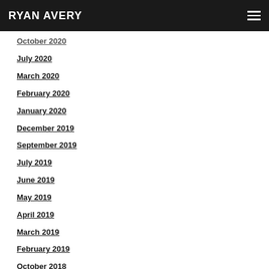RYAN AVERY
October 2020
July 2020
March 2020
February 2020
January 2020
December 2019
September 2019
July 2019
June 2019
May 2019
April 2019
March 2019
February 2019
October 2018
August 2018
July 2018
February 2018
January 2018